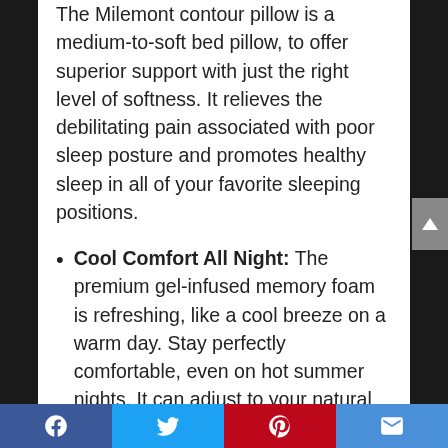The Milemont contour pillow is a medium-to-soft bed pillow, to offer superior support with just the right level of softness. It relieves the debilitating pain associated with poor sleep posture and promotes healthy sleep in all of your favorite sleeping positions.
Cool Comfort All Night: The premium gel-infused memory foam is refreshing, like a cool breeze on a warm day. Stay perfectly comfortable, even on hot summer nights. It can adjust to your natural pressure points and correctly aligns
Facebook | Twitter | Pinterest | Email